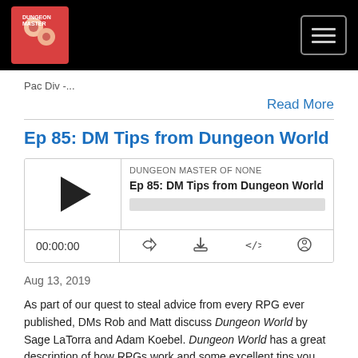[Figure (logo): Dungeon Master of None podcast logo on black header bar with hamburger menu button]
Pac Div -...
Read More
Ep 85: DM Tips from Dungeon World
[Figure (screenshot): Audio player widget showing DUNGEON MASTER OF NONE podcast, episode Ep 85: DM Tips from Dungeon World, with play button, progress bar, time 00:00:00, and control icons]
Aug 13, 2019
As part of our quest to steal advice from every RPG ever published, DMs Rob and Matt discuss Dungeon World by Sage LaTorra and Adam Koebel. Dungeon World has a great description of how RPGs work and some excellent tips you can use in games run in any system.